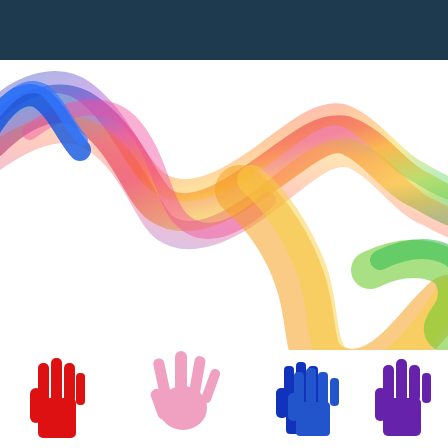[Figure (illustration): Dark navy/slate blue horizontal bar across the top of the page]
[Figure (illustration): Colorful flowing ribbon/wave smoke art starting from upper left in blue/purple, transitioning through pink/magenta/red in the middle, then orange/yellow on the right and green/teal at the far right bottom, flowing diagonally across a white background]
[Figure (illustration): Row of colorful handprint silhouettes at the bottom: red hand on left, pink spread hand in center-left, two blue hands in center-right, purple hand on the far right]